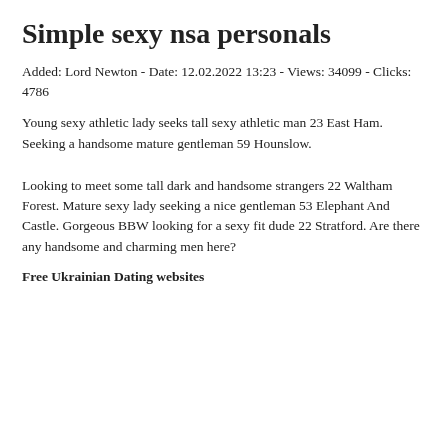Simple sexy nsa personals
Added: Lord Newton - Date: 12.02.2022 13:23 - Views: 34099 - Clicks: 4786
Young sexy athletic lady seeks tall sexy athletic man 23 East Ham. Seeking a handsome mature gentleman 59 Hounslow.
Looking to meet some tall dark and handsome strangers 22 Waltham Forest. Mature sexy lady seeking a nice gentleman 53 Elephant And Castle. Gorgeous BBW looking for a sexy fit dude 22 Stratford. Are there any handsome and charming men here?
Free Ukrainian Dating websites